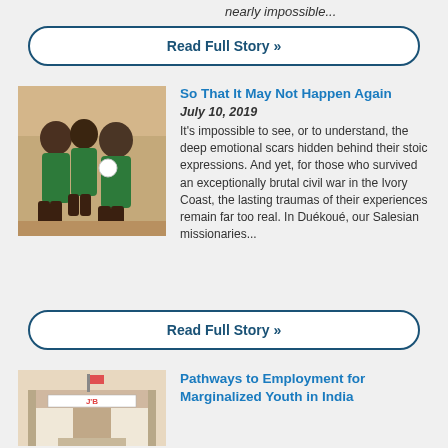nearly impossible...
Read Full Story »
So That It May Not Happen Again
July 10, 2019
[Figure (photo): Three young boys in green school uniforms standing together, one holding a white object]
It's impossible to see, or to understand, the deep emotional scars hidden behind their stoic expressions. And yet, for those who survived an exceptionally brutal civil war in the Ivory Coast, the lasting traumas of their experiences remain far too real. In Duékoué, our Salesian missionaries...
Read Full Story »
[Figure (photo): Building exterior with sign reading J'B]
Pathways to Employment for Marginalized Youth in India